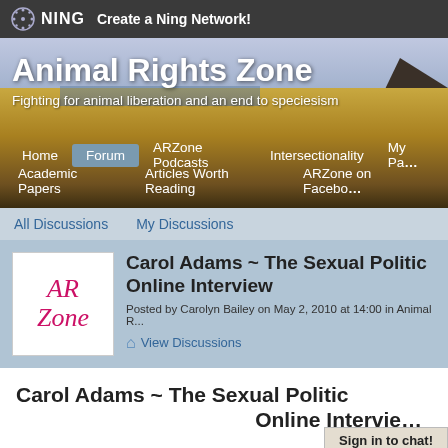NING — Create a Ning Network!
[Figure (screenshot): Animal Rights Zone website banner with landscape background photo showing grassy field and coastal scenery]
Animal Rights Zone
Fighting for animal liberation and an end to speciesism
Home | Forum | ARZone Podcasts | Intersectionality | My Page | Academic Papers | Articles Worth Reading | ARZone on Facebook
All Discussions   My Discussions
[Figure (logo): ARZone logo in pink italic script on white background]
Carol Adams ~ The Sexual Politics Online Interview
Posted by Carolyn Bailey on May 2, 2010 at 14:00 in Animal R...
View Discussions
Carol Adams ~ The Sexual Politics Online Interview
Sign in to chat!